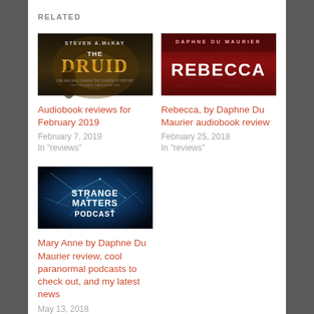RELATED
[Figure (photo): Book cover for 'The Druid' by Steven A. McKay — dark moody scene with golden title text]
Audiobook reviews for February 2019
February 7, 2019
In "reviews"
[Figure (photo): Book cover for 'Rebecca' by Daphne Du Maurier — red cover with white bold title text]
Rebecca, by Daphne Du Maurier audiobook review
February 25, 2018
In "reviews"
[Figure (photo): Strange Matters Podcast cover — blue glowing neural/lightning background with white text]
Mary Anne by Daphne Du Maurier review, cool paranormal podcasts to check out, and my latest news
May 13, 2018